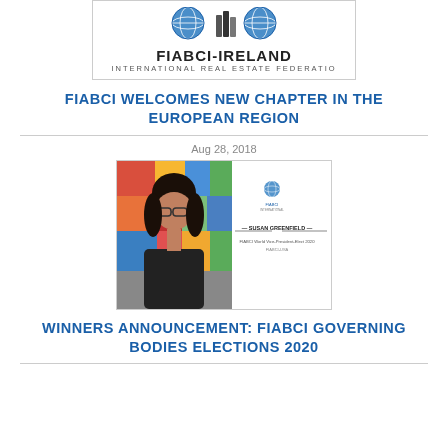[Figure (logo): FIABCI-IRELAND International Real Estate Federation logo with globe and building icons]
FIABCI WELCOMES NEW CHAPTER IN THE EUROPEAN REGION
Aug 28, 2018
[Figure (photo): Photo of a woman with glasses and dark hair beside a FIABCI name card for Susan Greenfield, FIABCI World Vice-President-Elect 2020, FIABCI-USA]
WINNERS ANNOUNCEMENT: FIABCI GOVERNING BODIES ELECTIONS 2020